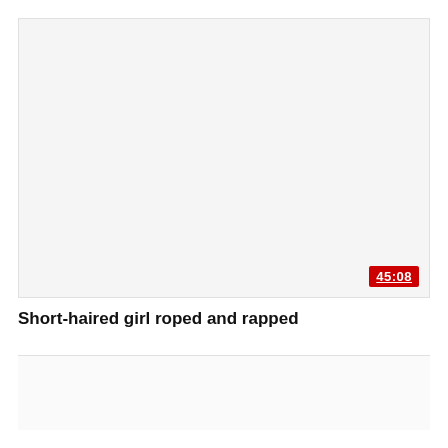[Figure (screenshot): Video thumbnail placeholder area with a duration badge showing 45:08 in the bottom right corner]
Short-haired girl roped and rapped